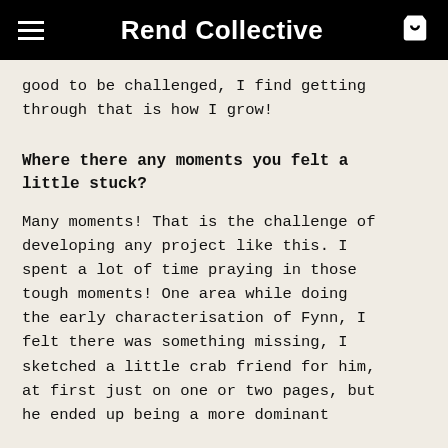Rend Collective
good to be challenged, I find getting through that is how I grow!
Where there any moments you felt a little stuck?
Many moments! That is the challenge of developing any project like this. I spent a lot of time praying in those tough moments! One area while doing the early characterisation of Fynn, I felt there was something missing, I sketched a little crab friend for him, at first just on one or two pages, but he ended up being a more dominant